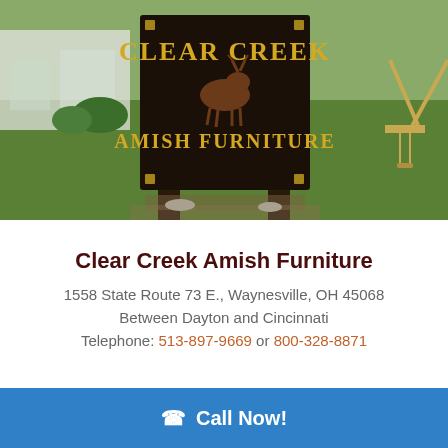[Figure (photo): Outdoor photo of a dark wooden sign reading 'CLEAR CREEK AMISH FURNITURE' with gold lettering and a deer/animal silhouette, set in a green lawn with white buildings and a swing set in the background.]
Clear Creek Amish Furniture
1558 State Route 73 E., Waynesville, OH 45068
Between Dayton and Cincinnati
Telephone: 513-897-9669 or 800-328-8871
Call Now!